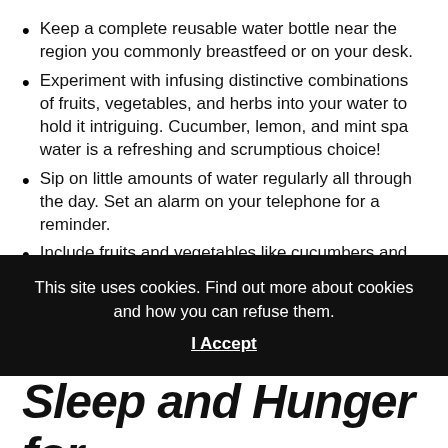Keep a complete reusable water bottle near the region you commonly breastfeed or on your desk.
Experiment with infusing distinctive combinations of fruits, vegetables, and herbs into your water to hold it intriguing. Cucumber, lemon, and mint spa water is a refreshing and scrumptious choice!
Sip on little amounts of water regularly all through the day. Set an alarm on your telephone for a reminder.
Include fruits and vegetables like cucumbers and watermelon, which are largely water, into your snacks.
Try creating one particular of these hydrating
This site uses cookies. Find out more about cookies and how you can refuse them.
I Accept
Sleep and Hunger for New Moms